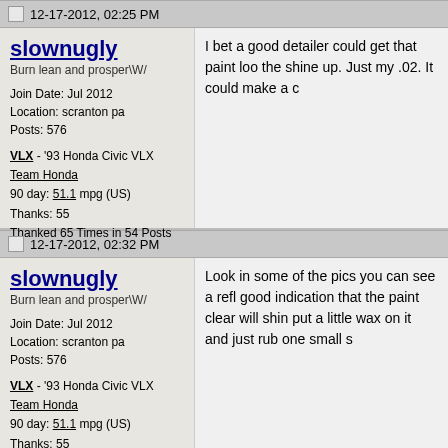12-17-2012, 02:25 PM
slownugly
Burn lean and prosper\W/

Join Date: Jul 2012
Location: scranton pa
Posts: 576

VLX - '93 Honda Civic VLX
Team Honda
90 day: 51.1 mpg (US)
Thanks: 55
Thanked 65 Times in 54 Posts
I bet a good detailer could get that paint loo the shine up. Just my .02. It could make a c
12-17-2012, 02:32 PM
slownugly
Burn lean and prosper\W/

Join Date: Jul 2012
Location: scranton pa
Posts: 576

VLX - '93 Honda Civic VLX
Team Honda
90 day: 51.1 mpg (US)
Thanks: 55
Thanked 65 Times in 54 Posts
Look in some of the pics you can see a refl good indication that the paint clear will shin put a little wax on it and just rub one small s